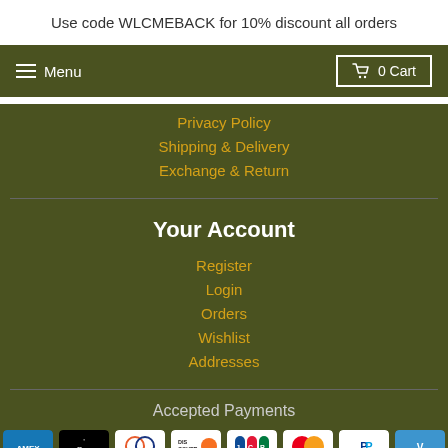Use code WLCMEBACK for 10% discount all orders
Privacy Policy
Shipping & Delivery
Exchange & Return
Your Account
Register
Login
Orders
Wishlist
Addresses
Accepted Payments
[Figure (infographic): Payment method logos: American Express, Apple Pay, Diners Club, Discover, JCB, Mastercard, PayPal, Venmo, Visa]